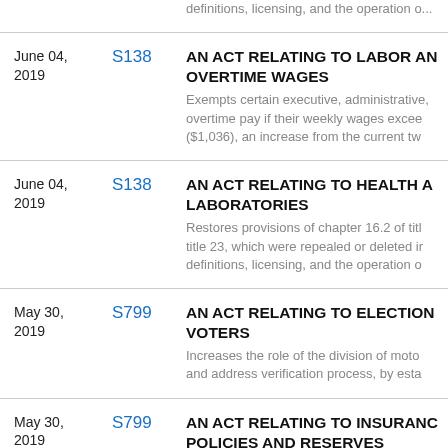June 04, 2019 | S138 | AN ACT RELATING TO LABOR AND OVERTIME WAGES — Exempts certain executive, administrative, overtime pay if their weekly wages exceed ($1,036), an increase from the current tw...
June 04, 2019 | S138 | AN ACT RELATING TO HEALTH AND LABORATORIES — Restores provisions of chapter 16.2 of title 23, which were repealed or deleted in definitions, licensing, and the operation o...
May 30, 2019 | S799 | AN ACT RELATING TO ELECTIONS AND VOTERS — Increases the role of the division of motor and address verification process, by esta...
May 30, 2019 | S799 | AN ACT RELATING TO INSURANCE POLICIES AND RESERVES